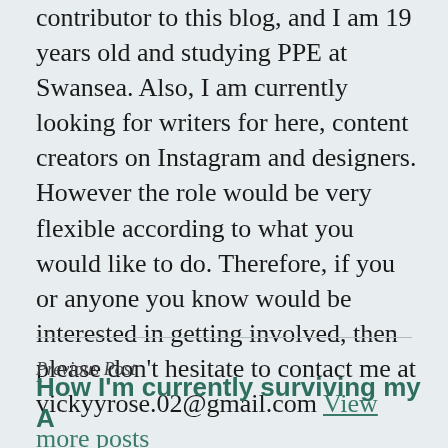contributor to this blog, and I am 19 years old and studying PPE at Swansea. Also, I am currently looking for writers for here, content creators on Instagram and designers. However the role would be very flexible according to what you would like to do. Therefore, if you or anyone you know would be interested in getting involved, then please don't hesitate to contact me at vickyyrose.02@gmail.com View more posts
Previous Post
How I'm currently surviving my A